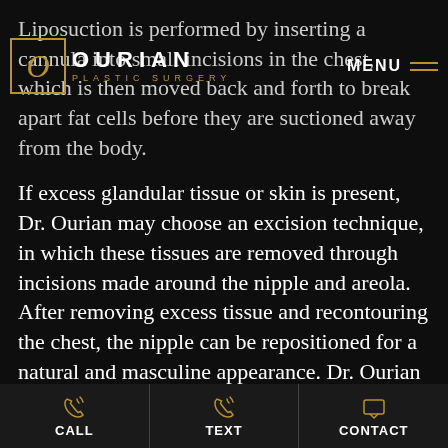OURIAN PLASTIC SURGERY — MENU
Liposuction is performed by inserting a cannula into small incisions in the chest, which is then moved back and forth to break apart fat cells before they are suctioned away from the body.
If excess glandular tissue or skin is present, Dr. Ourian may choose an excision technique, in which these tissues are removed through incisions made around the nipple and areola. After removing excess tissue and recontouring the chest, the nipple can be repositioned for a natural and masculine appearance. Dr. Ourian will explain the techniques recommended for your Beverly Hills gynecomastia surgeon after
CALL   TEXT   CONTACT